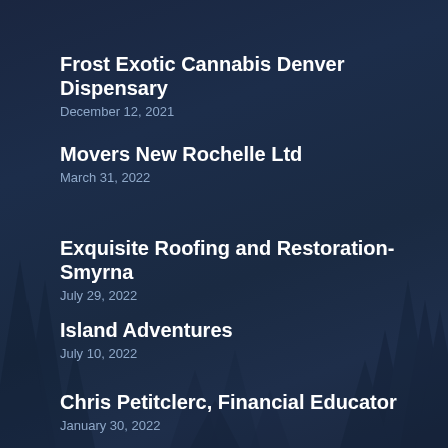Frost Exotic Cannabis Denver Dispensary
December 12, 2021
Movers New Rochelle Ltd
March 31, 2022
Exquisite Roofing and Restoration-Smyrna
July 29, 2022
Island Adventures
July 10, 2022
Chris Petitclerc, Financial Educator
January 30, 2022